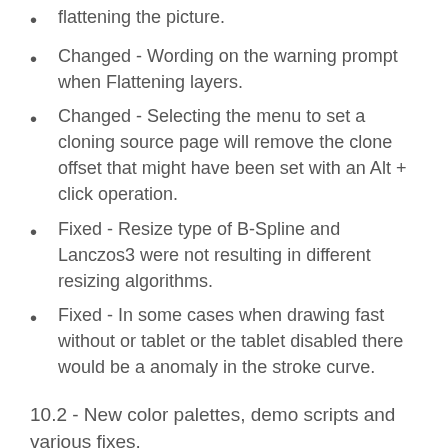flattening the picture.
Changed - Wording on the warning prompt when Flattening layers.
Changed - Selecting the menu to set a cloning source page will remove the clone offset that might have been set with an Alt + click operation.
Fixed - Resize type of B-Spline and Lanczos3 were not resulting in different resizing algorithms.
Fixed - In some cases when drawing fast without or tablet or the tablet disabled there would be a anomaly in the stroke curve.
10.2 - New color palettes, demo scripts and various fixes.
Added - Three demo scripts that create an entire scene. Tiger's Eye, Oranges and Desolate Beach
Added - Demo painting letter, Demo painting Use S...